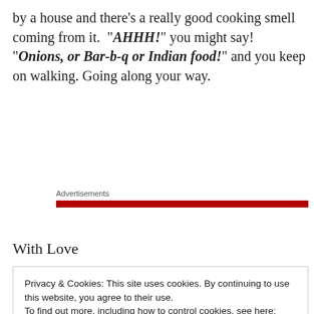by a house and there's a really good cooking smell coming from it.  "AHHH!" you might say! "Onions, or Bar-b-q or Indian food!" and you keep on walking. Going along your way.
Advertisements
With Love
Sponsored Content
Privacy & Cookies: This site uses cookies. By continuing to use this website, you agree to their use.
To find out more, including how to control cookies, see here:
Cookie Policy
Close and accept